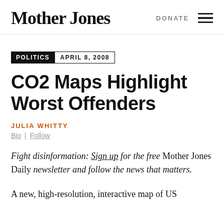Mother Jones | DONATE
POLITICS  APRIL 8, 2008
CO2 Maps Highlight Worst Offenders
JULIA WHITTY
Bio | Follow
Fight disinformation: Sign up for the free Mother Jones Daily newsletter and follow the news that matters.
A new, high-resolution, interactive map of US